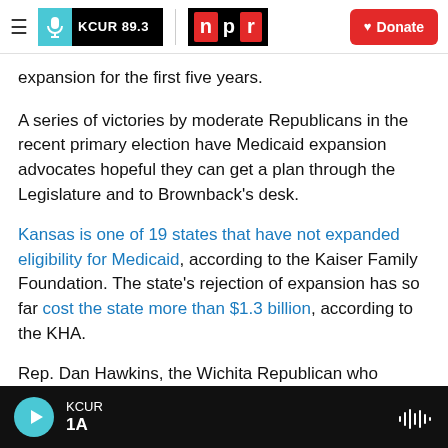[Figure (screenshot): KCUR 89.3 and NPR navigation bar with hamburger menu, KCUR logo, NPR logo, and red Donate button]
expansion for the first five years.
A series of victories by moderate Republicans in the recent primary election have Medicaid expansion advocates hopeful they can get a plan through the Legislature and to Brownback's desk.
Kansas is one of 19 states that have not expanded eligibility for Medicaid, according to the Kaiser Family Foundation. The state's rejection of expansion has so far cost the state more than $1.3 billion, according to the KHA.
Rep. Dan Hawkins, the Wichita Republican who
[Figure (screenshot): KCUR audio player bar at bottom showing play button, KCUR station label, 1A show title, and waveform icon]